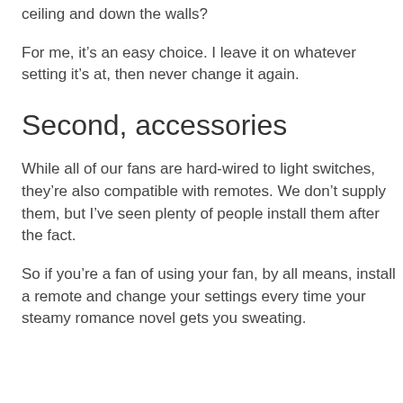ceiling and down the walls?
For me, it's an easy choice. I leave it on whatever setting it's at, then never change it again.
Second, accessories
While all of our fans are hard-wired to light switches, they're also compatible with remotes. We don't supply them, but I've seen plenty of people install them after the fact.
So if you're a fan of using your fan, by all means, install a remote and change your settings every time your steamy romance novel gets you sweating.